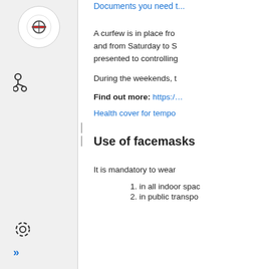Documents you need t...
A curfew is in place fro... and from Saturday to S... presented to controlling...
During the weekends, t...
Find out more: https:/...
Health cover for tempo...
Use of facemasks
It is mandatory to wear...
in all indoor spac...
in public transpo...